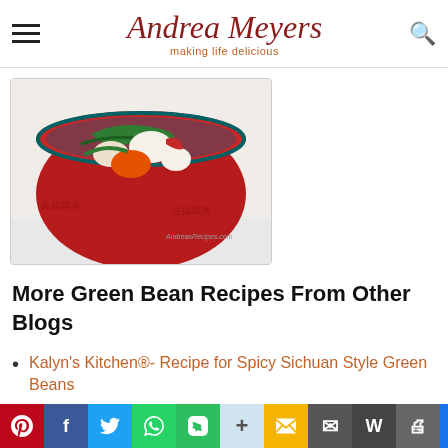Andrea Meyers — making life delicious
[Figure (photo): A red ceramic bowl containing a colorful stir-fry with green beans, chicken, and vegetables, set on a white background. Watermark reads AndreasRecipes.com]
More Green Bean Recipes From Other Blogs
Kalyn's Kitchen®- Recipe for Spicy Sichuan Style Green Beans
Gluten-Free Goddess - Pomegranate Glazed...
Share bar: Pinterest, Facebook, Twitter, WhatsApp, Evernote, Plus, Gmail, Email, WordPress, Print, Share